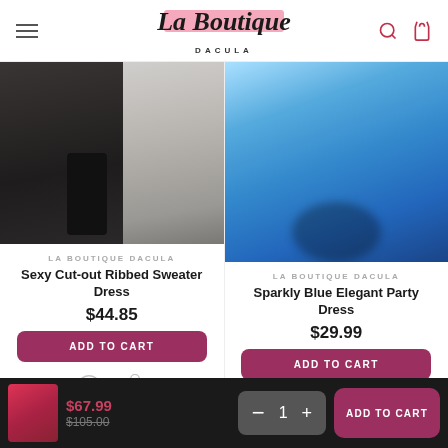La Boutique Dacula
[Figure (photo): Model wearing black cut-out ribbed sweater dress on stairs outdoors]
LA BOUTIQUE DACULA
Sexy Cut-out Ribbed Sweater Dress
$44.85
ADD TO CART
[Figure (photo): Blue sparkly satin elegant party dress on light blue background]
LA BOUTIQUE DACULA
Sparkly Blue Elegant Party Dress
$29.99
ADD TO CART
$67.99  $105.00  1  ADD TO CART